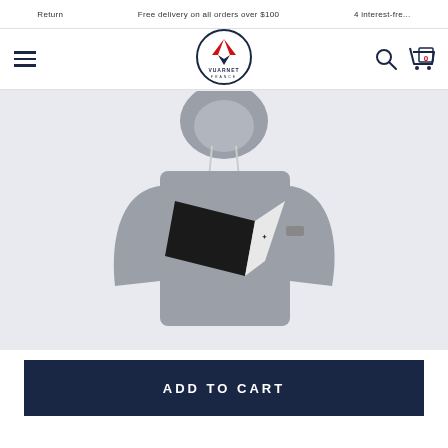Return   Free delivery on all orders over $100   4 interest-fre...
[Figure (logo): Vuarnet France circular logo with dark blue border, red and white V emblem, and text VUARNET FRANCE]
[Figure (photo): Grey hoodie sweatshirt with black and white geometric chevron design on the chest, displayed on a light grey background]
ADD TO CART